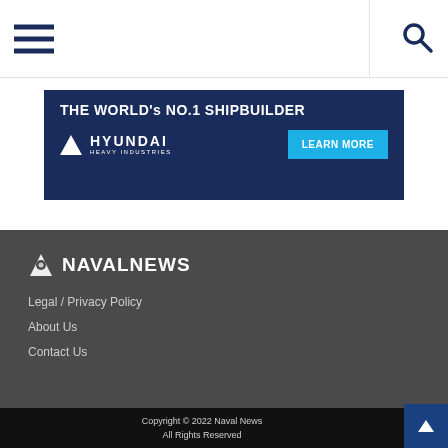Naval News website navigation bar with hamburger menu and search icon
[Figure (screenshot): Hyundai Heavy Industries advertisement banner: 'THE WORLD's NO.1 SHIPBUILDER' with Hyundai logo and 'LEARN MORE' button on dark blue background]
Naval News logo, Legal / Privacy Policy, About Us, Contact Us
Copyright © 2022 Naval News All Rights Reserved